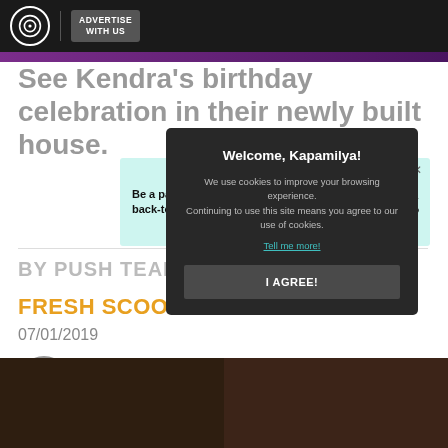ADVERTISE WITH US
See Kendra's birthday celebration in their newly built house.
[Figure (screenshot): Advertisement banner for 'ding' with text 'Be a part of their back-to-school story' and a 'Send load' button]
BY PUSH TEAM
FRESH SCOOPS
07/01/2019
[Figure (other): Cookie consent modal popup: 'Welcome, Kapamilya! We use cookies to improve your browsing experience. Continuing to use this site means you agree to our use of cookies. Tell me more! I AGREE!']
[Figure (photo): Two photos of a house interior at the bottom of the page]